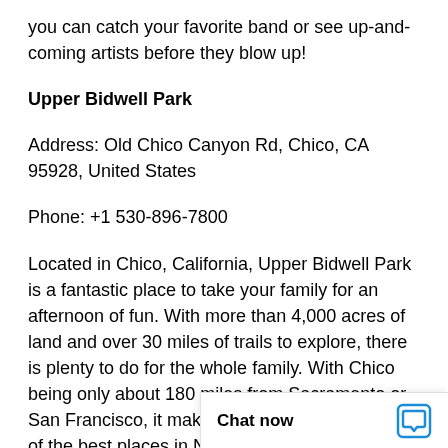you can catch your favorite band or see up-and-coming artists before they blow up!
Upper Bidwell Park
Address: Old Chico Canyon Rd, Chico, CA 95928, United States
Phone: +1 530-896-7800
Located in Chico, California, Upper Bidwell Park is a fantastic place to take your family for an afternoon of fun. With more than 4,000 acres of land and over 30 miles of trails to explore, there is plenty to do for the whole family. With Chico being only about 180 miles from Sacramento or San Francisco, it makes Upper Bidwell Park one of the best places in Northern California to spend tim
Chat now